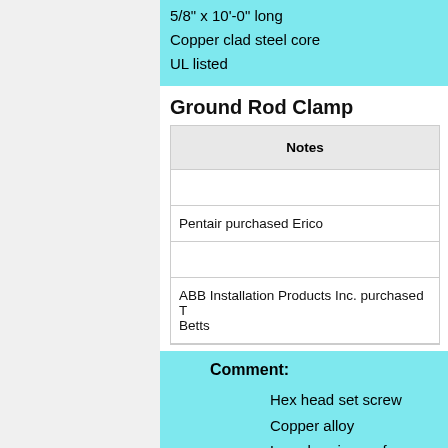5/8" x 10'-0" long
Copper clad steel core
UL listed
Ground Rod Clamp
| Notes |
| --- |
|  |
| Pentair purchased Erico |
|  |
| ABB Installation Products Inc. purchased T Betts |
Comment:
Hex head set screw
Copper alloy
Long bearing surface